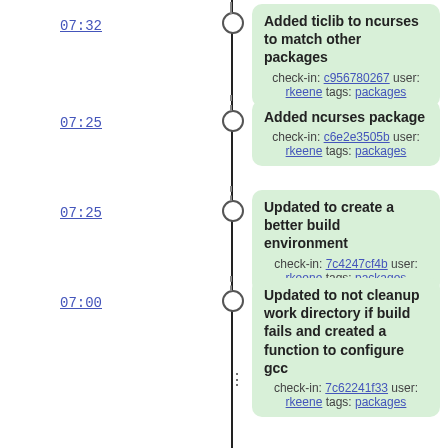07:32
Added ticlib to ncurses to match other packages
check-in: c956780267 user: rkeene tags: packages
07:25
Added ncurses package
check-in: c6e2e3505b user: rkeene tags: packages
07:25
Updated to create a better build environment
check-in: 7c4247cf4b user: rkeene tags: packages
07:00
Updated to not cleanup work directory if build fails and created a function to configure gcc
check-in: 7c62241f33 user: rkeene tags: packages
05:54
Updated to call Tcl_Preserve/Tcl_Release as appropriate
check-in: d9f1a05711 user: rkeene tags: trunk
05:46
Fixed actual problem with interruptions (which was really unrelated) -- Tcl notifier thread is terminated on fork() called by fuse_main(), since we create a Tcl interpreter for testing